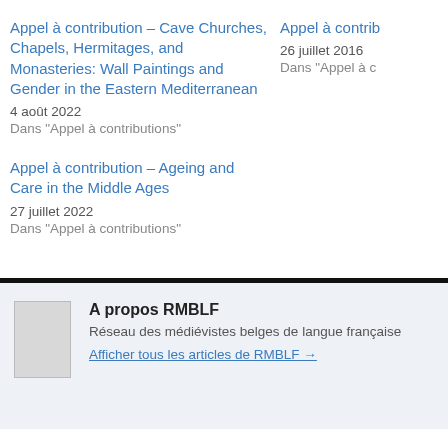Appel à contribution – Cave Churches, Chapels, Hermitages, and Monasteries: Wall Paintings and Gender in the Eastern Mediterranean
4 août 2022
Dans "Appel à contributions"
Appel à contrib...
26 juillet 2016
Dans "Appel à c..."
Appel à contribution – Ageing and Care in the Middle Ages
27 juillet 2022
Dans "Appel à contributions"
A propos RMBLF
Réseau des médiévistes belges de langue française
Afficher tous les articles de RMBLF →
Cet article a été publié dans Appel à contributions. Ajoutez ce permalien à vo...
← Publication (en ligne) – The Canterbury Tales Project:        Web – La...